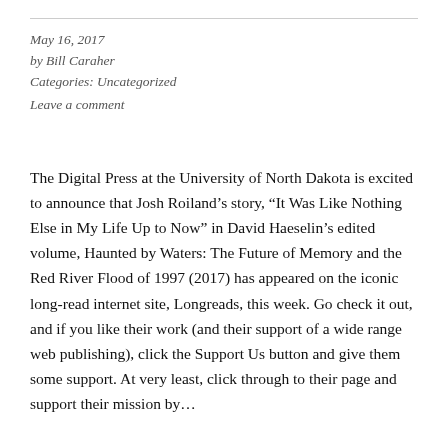May 16, 2017
by Bill Caraher
Categories: Uncategorized
Leave a comment
The Digital Press at the University of North Dakota is excited to announce that Josh Roiland’s story, “It Was Like Nothing Else in My Life Up to Now” in David Haeselin’s edited volume, Haunted by Waters: The Future of Memory and the Red River Flood of 1997 (2017) has appeared on the iconic long-read internet site, Longreads, this week. Go check it out, and if you like their work (and their support of a wide range web publishing), click the Support Us button and give them some support. At very least, click through to their page and support their mission by…